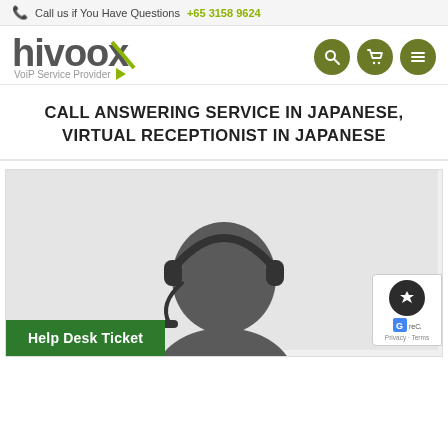Call us if You Have Questions +65 3158 9624
[Figure (logo): Hivoox logo with text 'hivoox' in gray and green, subtitle 'VoiP Service Provider' with green arrow, and three dark olive circular navigation icons (search, cart, menu)]
CALL ANSWERING SERVICE IN JAPANESE, VIRTUAL RECEPTIONIST IN JAPANESE
[Figure (illustration): Illustration of a call center agent/receptionist with headset, gray silhouette figure on light gray background. Green 'Help Desk Ticket' button in bottom left. reCAPTCHA badge in bottom right corner.]